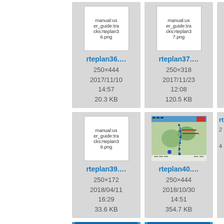[Figure (screenshot): File browser tile showing rteplan36.png, 250×444, 2017/11/10 14:57, 20.3 KB]
[Figure (screenshot): File browser tile showing rteplan37.png, 250×318, 2017/11/23 12:08, 120.5 KB]
[Figure (screenshot): File browser tile showing rteplan39.png, 250×172, 2018/04/11 16:29, 33.6 KB]
[Figure (screenshot): File browser tile showing rteplan40.png with a map image, 250×444, 2018/10/30 14:51, 354.7 KB]
[Figure (screenshot): Partial tile visible at right edge]
[Figure (screenshot): Bottom row partial tiles with blue backgrounds]